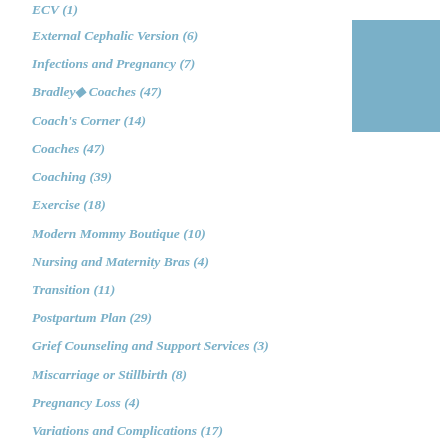ECV (1)
External Cephalic Version (6)
Infections and Pregnancy (7)
Bradley◆ Coaches (47)
Coach's Corner (14)
Coaches (47)
Coaching (39)
Exercise (18)
Modern Mommy Boutique (10)
Nursing and Maternity Bras (4)
Transition (11)
Postpartum Plan (29)
Grief Counseling and Support Services (3)
Miscarriage or Stillbirth (8)
Pregnancy Loss (4)
Variations and Complications (17)
Going to your birthplace (9)
Homebirth (58)
[Figure (other): Solid blue-grey rectangle decorative element in upper right corner]